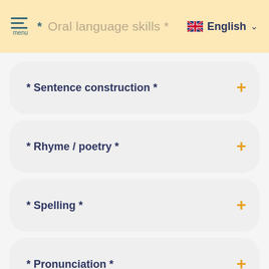* Oral language skills * — English
* Sentence construction *
* Rhyme / poetry *
* Spelling *
* Pronunciation *
* Online-proof *